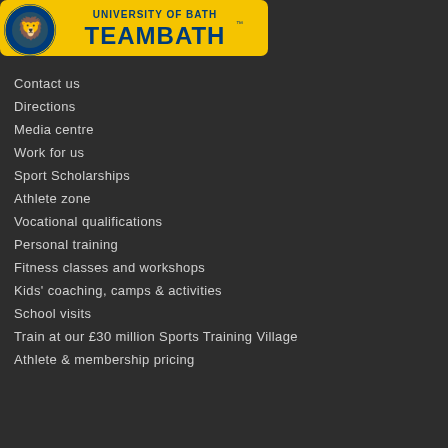[Figure (logo): University of Bath Team Bath logo — circular crest on left, yellow banner with 'UNIVERSITY OF BATH' in blue above 'TEAMBATH' in large blue bold text, all on a yellow rounded-rectangle background]
Contact us
Directions
Media centre
Work for us
Sport Scholarships
Athlete zone
Vocational qualifications
Personal training
Fitness classes and workshops
Kids' coaching, camps & activities
School visits
Train at our £30 million Sports Training Village
Athlete & membership pricing